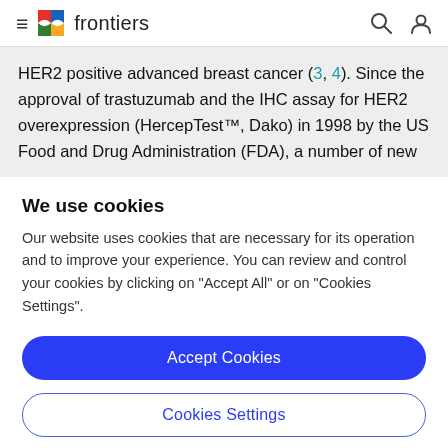frontiers
HER2 positive advanced breast cancer (3, 4). Since the approval of trastuzumab and the IHC assay for HER2 overexpression (HercepTest™, Dako) in 1998 by the US Food and Drug Administration (FDA), a number of new
We use cookies
Our website uses cookies that are necessary for its operation and to improve your experience. You can review and control your cookies by clicking on "Accept All" or on "Cookies Settings".
Accept Cookies
Cookies Settings